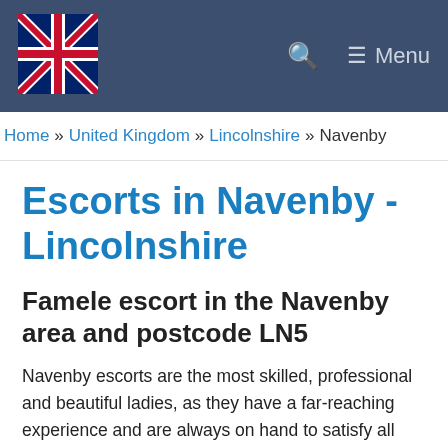UK Flag logo | Search | Menu
Home » United Kingdom » Lincolnshire » Navenby
Escorts in Navenby - Lincolnshire
Famele escort in the Navenby area and postcode LN5
Navenby escorts are the most skilled, professional and beautiful ladies, as they have a far-reaching experience and are always on hand to satisfy all your needs, offer you delightful moments and enhance your sexual encounter at